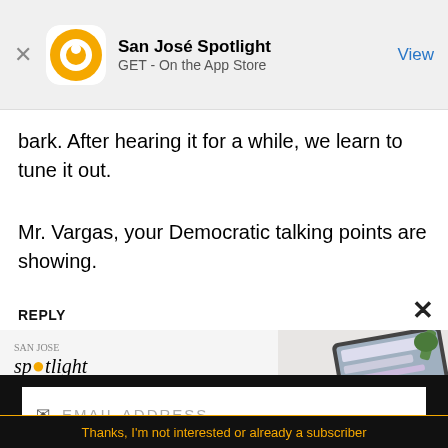[Figure (screenshot): App store banner showing San José Spotlight app icon, name, GET - On the App Store, and View button]
bark. After hearing it for a while, we learn to tune it out.
Mr. Vargas, your Democratic talking points are showing.
REPLY
[Figure (advertisement): San Jose Spotlight ad banner showing logo, headline 'Where San Jose locals start the day.' and sanjosespotlight.com URL, with tablet/device image on right]
[Figure (screenshot): Email subscription widget with EMAIL ADDRESS input field and SUBSCRIBE button, on dark background, with 'Thanks, I'm not interested or already a subscriber' link at bottom]